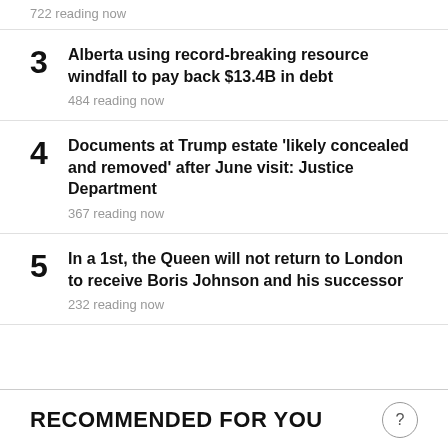722 reading now
3 Alberta using record-breaking resource windfall to pay back $13.4B in debt
484 reading now
4 Documents at Trump estate 'likely concealed and removed' after June visit: Justice Department
367 reading now
5 In a 1st, the Queen will not return to London to receive Boris Johnson and his successor
232 reading now
RECOMMENDED FOR YOU